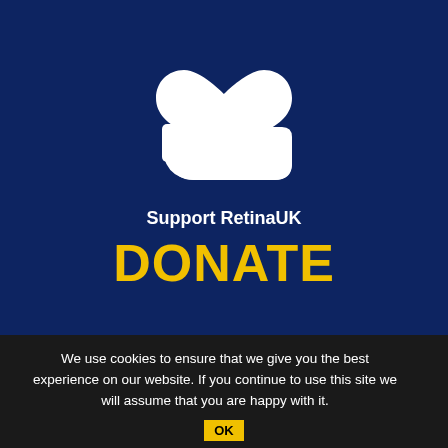[Figure (illustration): White icon of a hand holding a heart, representing donation, on a dark navy blue background]
Support RetinaUK
DONATE
We use cookies to ensure that we give you the best experience on our website. If you continue to use this site we will assume that you are happy with it.
OK